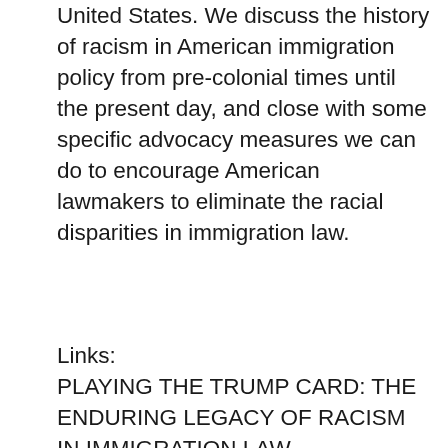United States. We discuss the history of racism in American immigration policy from pre-colonial times until the present day, and close with some specific advocacy measures we can do to encourage American lawmakers to eliminate the racial disparities in immigration law.
Links:
PLAYING THE TRUMP CARD: THE ENDURING LEGACY OF RACISM IN IMMIGRATION LAW
David B. Oppenheimer, Swati Prakash, and Rachel Burns
https://www.immigrationresearch.org/system/files/playing_the_trump_card.pdf
Melissa Stek
mstek@crcna.org
Immigrants are a Blessing Not a Burden Campaign